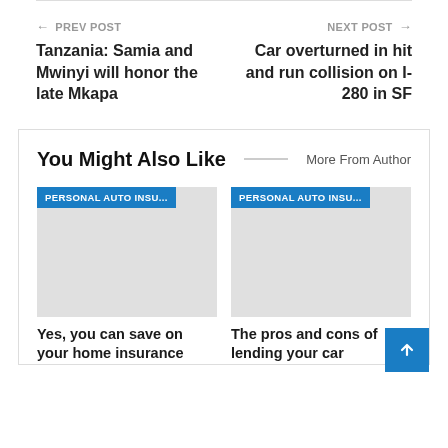← PREV POST | Tanzania: Samia and Mwinyi will honor the late Mkapa
NEXT POST → | Car overturned in hit and run collision on I-280 in SF
You Might Also Like
More From Author
[Figure (photo): Gray placeholder image with PERSONAL AUTO INSU... badge]
Yes, you can save on your home insurance
[Figure (photo): Gray placeholder image with PERSONAL AUTO INSU... badge]
The pros and cons of lending your car